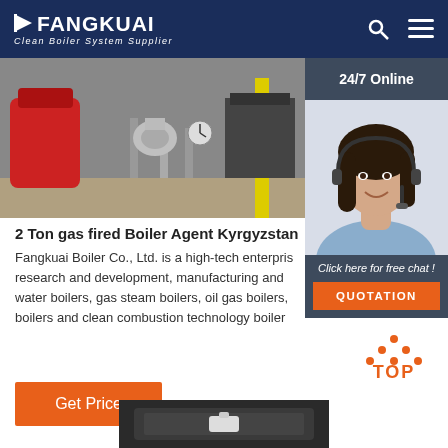FANGKUAI Clean Boiler System Supplier
[Figure (photo): Industrial boiler equipment and piping in a facility]
[Figure (photo): 24/7 Online customer service agent with headset, smiling]
Click here for free chat !
QUOTATION
2 Ton gas fired Boiler Agent Kyrgyzstan
Fangkuai Boiler Co., Ltd. is a high-tech enterpris research and development, manufacturing and water boilers, gas steam boilers, oil gas boilers, boilers and clean combustion technology boiler
Get Price
[Figure (logo): TOP button with orange dots above the text]
[Figure (photo): Partial view of dark colored industrial boiler product at bottom]